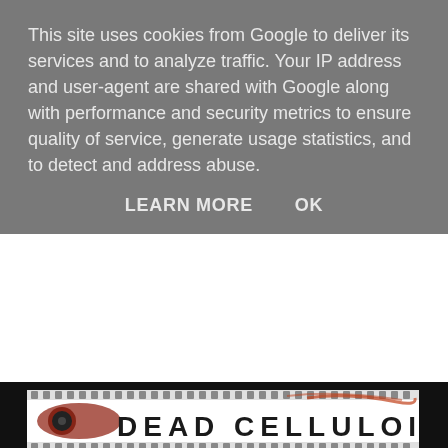This site uses cookies from Google to deliver its services and to analyze traffic. Your IP address and user-agent are shared with Google along with performance and security metrics to ensure quality of service, generate usage statistics, and to detect and address abuse.
LEARN MORE    OK
[Figure (logo): Dead Celluloid website logo — film strip banner with text DEAD CELLULOID on white background with decorative film reel imagery]
DISCLAIMER
All reviews on Dead Celluloid are the opinions of their respective authors.
Email: deadcelluloidreviews@gmail.com
SEARCH